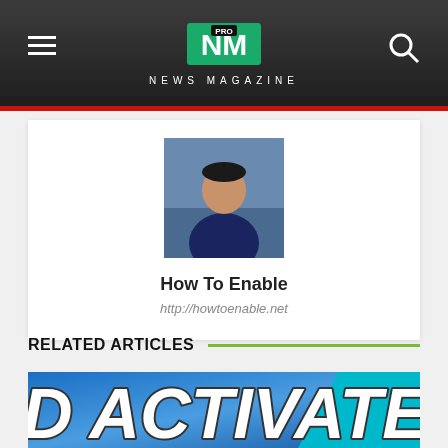NEWS MAGAZINE
[Figure (photo): Author profile photo of a man sitting outdoors]
How To Enable
http://howtoenable.net
RELATED ARTICLES
[Figure (photo): Article thumbnail showing 'ACTIVATE' text in bold white letters with dark outline on a blue gradient background with a teal parallelogram shape on the right]